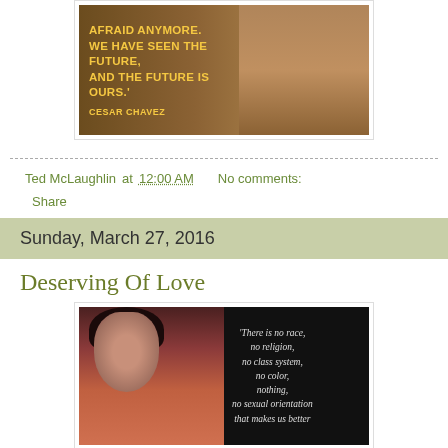[Figure (photo): Quote image with text reading 'AFRAID ANYMORE. WE HAVE SEEN THE FUTURE, AND THE FUTURE IS OURS.' attributed to CESAR CHAVEZ, with a person in the background]
Ted McLaughlin at 12:00 AM   No comments:
Share
Sunday, March 27, 2016
Deserving Of Love
[Figure (photo): Quote image with a woman with dark hair and text reading 'There is no race, no religion, no class system, no color, nothing, no sexual orientation that makes us better']